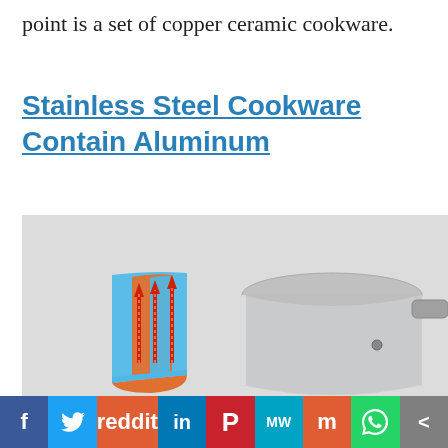point is a set of copper ceramic cookware.
Stainless Steel Cookware Contain Aluminum
[Figure (photo): Cross-section diagram of stainless steel cookware showing layered construction with blue outer steel, orange/red aluminum middle layer, and steel inner layer with red upward arrows indicating heat conduction. A stainless steel saucepan is shown on a gray background.]
f  🐦  reddit  in  P  MW  mix  WhatsApp  share